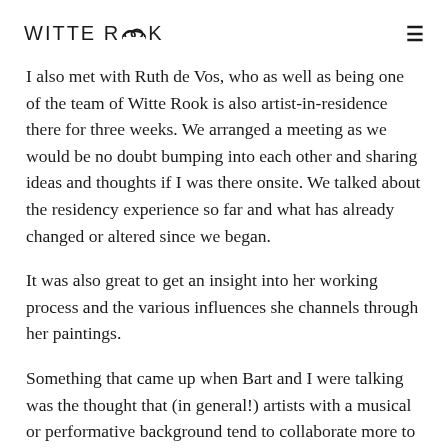WITTE ROOK
I also met with Ruth de Vos, who as well as being one of the team of Witte Rook is also artist-in-residence there for three weeks. We arranged a meeting as we would be no doubt bumping into each other and sharing ideas and thoughts if I was there onsite. We talked about the residency experience so far and what has already changed or altered since we began.
It was also great to get an insight into her working process and the various influences she channels through her paintings.
Something that came up when Bart and I were talking was the thought that (in general!) artists with a musical or performative background tend to collaborate more to create work, whereas visual artists tend to work alone or if they work with a group it is usually as a kind of project manager. This is a very broad generalisation of course.